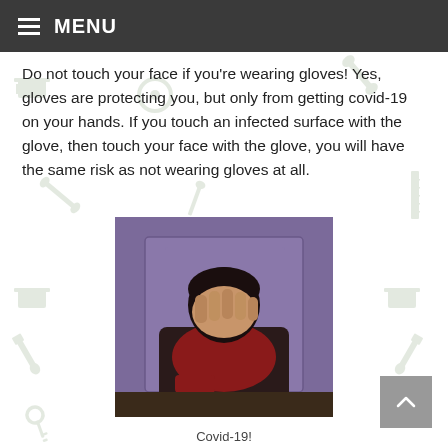≡ MENU
Do not touch your face if you're wearing gloves! Yes, gloves are protecting you, but only from getting covid-19 on your hands. If you touch an infected surface with the glove, then touch your face with the glove, you will have the same risk as not wearing gloves at all.
[Figure (photo): A man in a red shirt covering his face with his hand in a facepalm gesture, sitting at a desk against a purple background (Star Trek facepalm meme).]
Covid-19!